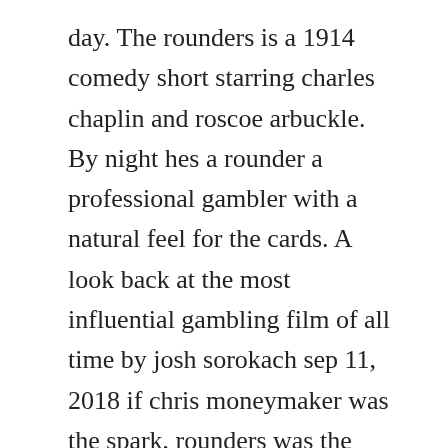day. The rounders is a 1914 comedy short starring charles chaplin and roscoe arbuckle. By night hes a rounder a professional gambler with a natural feel for the cards. A look back at the most influential gambling film of all time by josh sorokach sep 11, 2018 if chris moneymaker was the spark, rounders was the gasoline that helped ignite. This script is a transcript that was painstakingly transcribed using the screenplay andor viewings of rounders. The holy modal rounders or simply the rounders, an american folk music duo.